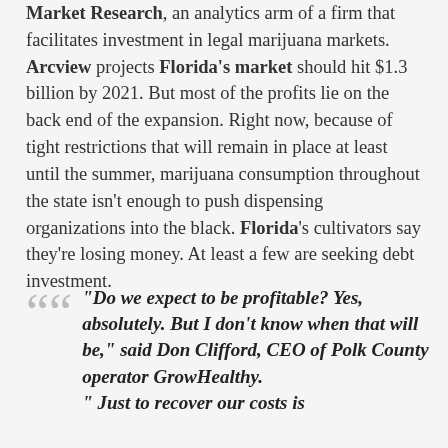Market Research, an analytics arm of a firm that facilitates investment in legal marijuana markets. Arcview projects Florida's market should hit $1.3 billion by 2021. But most of the profits lie on the back end of the expansion. Right now, because of tight restrictions that will remain in place at least until the summer, marijuana consumption throughout the state isn't enough to push dispensing organizations into the black. Florida's cultivators say they're losing money. At least a few are seeking debt investment.
"Do we expect to be profitable? Yes, absolutely. But I don't know when that will be," said Don Clifford, CEO of Polk County operator GrowHealthy. " Just to recover our costs is